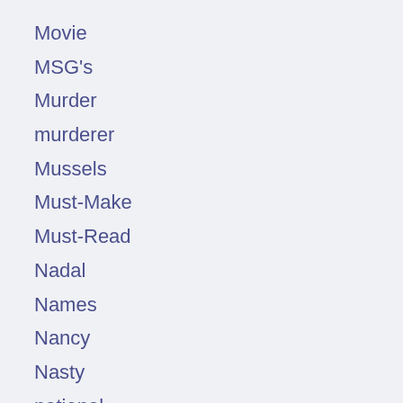Movie
MSG's
Murder
murderer
Mussels
Must-Make
Must-Read
Nadal
Names
Nancy
Nasty
national
Nesa's